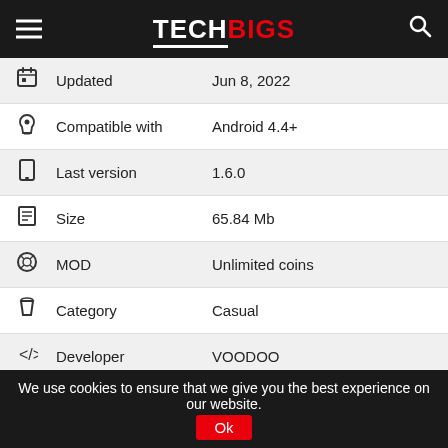TECHBIGS
| Icon | Field | Value |
| --- | --- | --- |
| 📅 | Updated | Jun 8, 2022 |
| 🤖 | Compatible with | Android 4.4+ |
| 📱 | Last version | 1.6.0 |
| 📄 | Size | 65.84 Mb |
| ⊙ | MOD | Unlimited coins |
| 🏷 | Category | Casual |
| <> | Developer | VOODOO |
| 💰 | Price | Free |
| 🔒 | Google Play Link | by.hitbox.magicwoods |
MOD Features
We use cookies to ensure that we give you the best experience on our website.